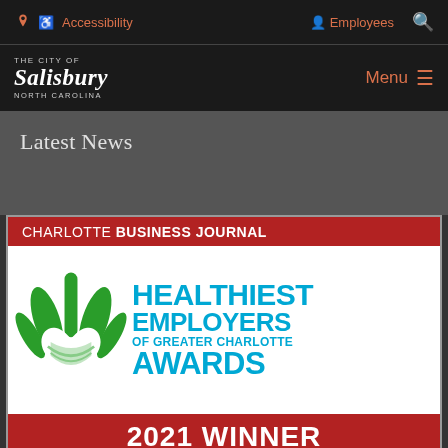Accessibility | Employees
[Figure (logo): The City of Salisbury, North Carolina logo with text]
Latest News
[Figure (illustration): Charlotte Business Journal Healthiest Employers of Greater Charlotte Awards 2021 Winner badge/logo]